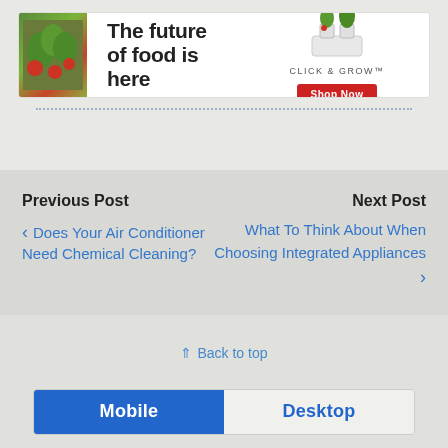[Figure (infographic): Advertisement banner: 'The future of food is here' with Click & Grow branding, plant image, and Shop Now button]
Previous Post
Next Post
‹ Does Your Air Conditioner Need Chemical Cleaning?
What To Think About When Choosing Integrated Appliances ›
⇑ Back to top
Mobile | Desktop